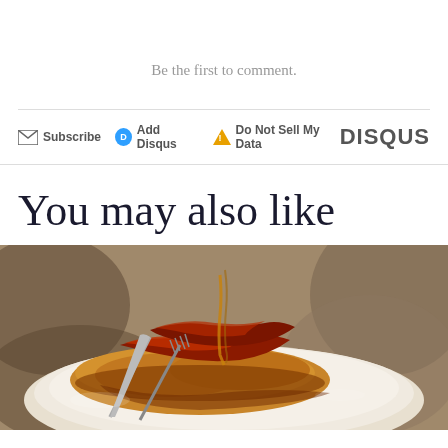Be the first to comment.
Subscribe  Add Disqus  Do Not Sell My Data  DISQUS
You may also like
[Figure (photo): Close-up food photo of French toast or pancakes topped with caramelized bacon and syrup on a white plate with fork and knife]